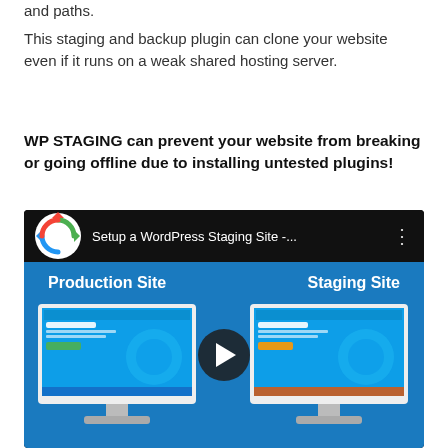and paths.
This staging and backup plugin can clone your website even if it runs on a weak shared hosting server.
WP STAGING can prevent your website from breaking or going offline due to installing untested plugins!
[Figure (screenshot): YouTube-style video thumbnail showing 'Setup a WordPress Staging Site -...' with WP Staging logo. Below shows a blue background with 'Production Site' on the left and 'Staging Site' on the right, each with a monitor displaying the WP Staging Pro website. A play button is centered in the middle.]